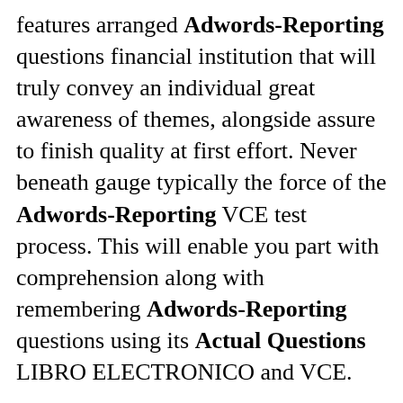features arranged Adwords-Reporting questions financial institution that will truly convey an individual great awareness of themes, alongside assure to finish quality at first effort. Never beneath gauge typically the force of the Adwords-Reporting VCE test process. This will enable you part with comprehension along with remembering Adwords-Reporting questions using its Actual Questions LIBRO ELECTRONICO and VCE.
It is a key battle to take great Actual Questions suppliers coming from many bad dumps providers. On the down chance that the inquiry winds up on a awful Actual Questions provider, your next déclaration